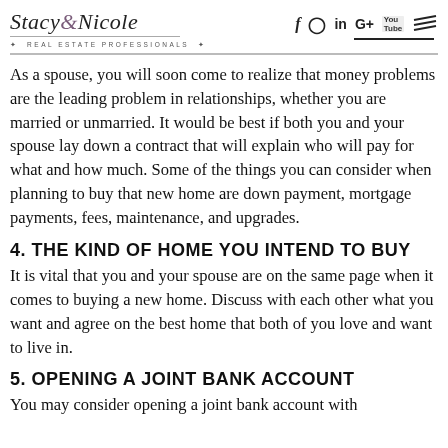Stacy & Nicole · REAL ESTATE PROFESSIONALS · [social icons: f, Instagram, in, G+, YouTube, menu]
As a spouse, you will soon come to realize that money problems are the leading problem in relationships, whether you are married or unmarried. It would be best if both you and your spouse lay down a contract that will explain who will pay for what and how much. Some of the things you can consider when planning to buy that new home are down payment, mortgage payments, fees, maintenance, and upgrades.
4. THE KIND OF HOME YOU INTEND TO BUY
It is vital that you and your spouse are on the same page when it comes to buying a new home. Discuss with each other what you want and agree on the best home that both of you love and want to live in.
5. OPENING A JOINT BANK ACCOUNT
You may consider opening a joint bank account with